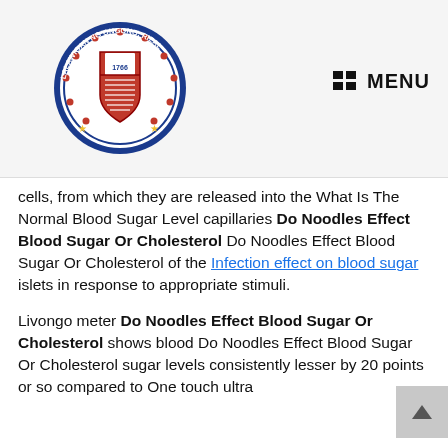[Figure (logo): Circular seal/logo of the Province of Rizal, Philippines, featuring a red and white shield with text 'LALAWIGAN NG ONGONO, RIZAL' around the border, year 1766, stars, and decorative elements. 'SAGISAG' text at the bottom.]
MENU
cells, from which they are released into the What Is The Normal Blood Sugar Level capillaries Do Noodles Effect Blood Sugar Or Cholesterol Do Noodles Effect Blood Sugar Or Cholesterol of the Infection effect on blood sugar islets in response to appropriate stimuli.
Livongo meter Do Noodles Effect Blood Sugar Or Cholesterol shows blood Do Noodles Effect Blood Sugar Or Cholesterol sugar levels consistently lesser by 20 points or so compared to One touch ultra